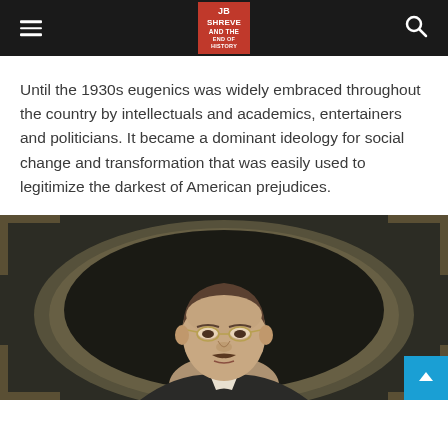JB Shreve and the End of History
Until the 1930s eugenics was widely embraced throughout the country by intellectuals and academics, entertainers and politicians. It became a dominant ideology for social change and transformation that was easily used to legitimize the darkest of American prejudices.
[Figure (photo): Portrait photograph of a historical figure (appears to be Theodore Roosevelt) in a formal oval-framed portrait style with ornate border details, dark background]